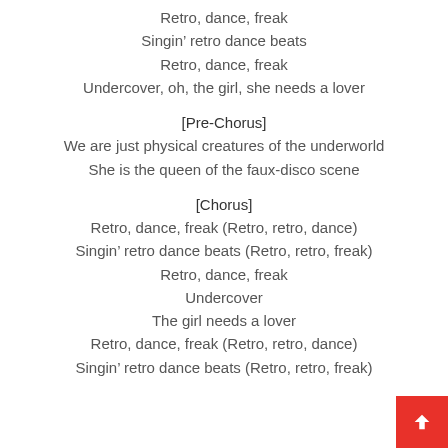Retro, dance, freak
Singin’ retro dance beats
Retro, dance, freak
Undercover, oh, the girl, she needs a lover
[Pre-Chorus]
We are just physical creatures of the underworld
She is the queen of the faux-disco scene
[Chorus]
Retro, dance, freak (Retro, retro, dance)
Singin’ retro dance beats (Retro, retro, freak)
Retro, dance, freak
Undercover
The girl needs a lover
Retro, dance, freak (Retro, retro, dance)
Singin’ retro dance beats (Retro, retro, freak)